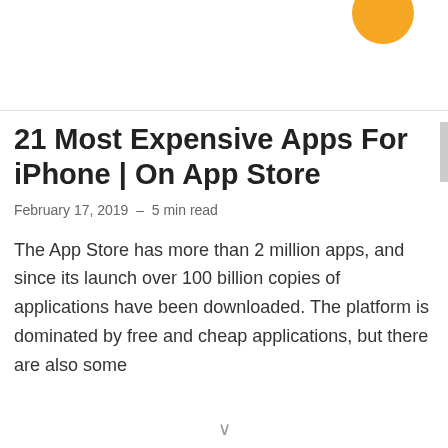21 Most Expensive Apps For iPhone | On App Store
February 17, 2019 – 5 min read
The App Store has more than 2 million apps, and since its launch over 100 billion copies of applications have been downloaded. The platform is dominated by free and cheap applications, but there are also some